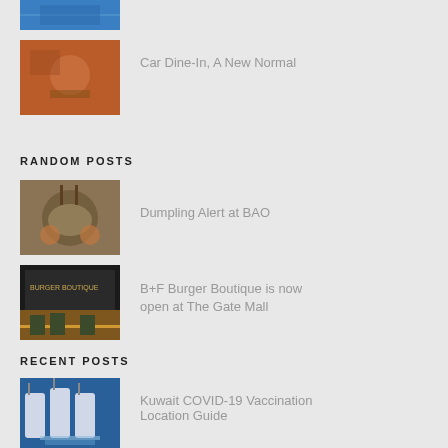[Figure (photo): Blue image at top (partial, cropped) - COVID vaccination scene]
[Figure (photo): Person wearing mask holding food item]
Car Dine-In, A New Normal
RANDOM POSTS
[Figure (photo): Bowl of dumplings with sauces]
Dumpling Alert at BAO
[Figure (photo): B+F Burger Boutique restaurant interior]
B+F Burger Boutique is now open at The Gate Mall
RECENT POSTS
[Figure (photo): COVID-19 vaccine vials on blue background]
Kuwait COVID-19 Vaccination Location Guide